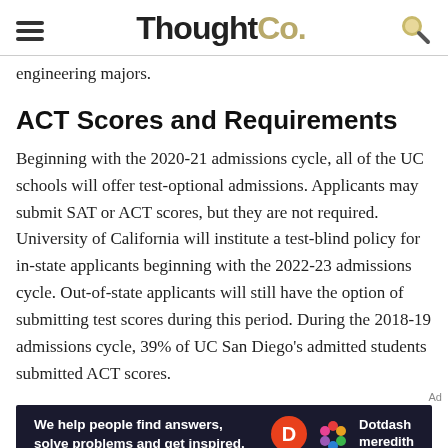ThoughtCo.
engineering majors.
ACT Scores and Requirements
Beginning with the 2020-21 admissions cycle, all of the UC schools will offer test-optional admissions. Applicants may submit SAT or ACT scores, but they are not required. University of California will institute a test-blind policy for in-state applicants beginning with the 2022-23 admissions cycle. Out-of-state applicants will still have the option of submitting test scores during this period. During the 2018-19 admissions cycle, 39% of UC San Diego's admitted students submitted ACT scores.
[Figure (other): Dotdash Meredith advertisement banner with text: We help people find answers, solve problems and get inspired.]